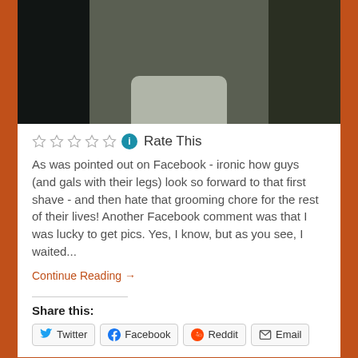[Figure (photo): Dark photo of a person in a bathroom near a sink, taken in a mirror selfie style]
☆☆☆☆☆ ℹ Rate This
As was pointed out on Facebook - ironic how guys (and gals with their legs) look so forward to that first shave - and then hate that grooming chore for the rest of their lives! Another Facebook comment was that I was lucky to get pics. Yes, I know, but as you see, I waited...
Continue Reading →
Share this:
Twitter Facebook Reddit Email